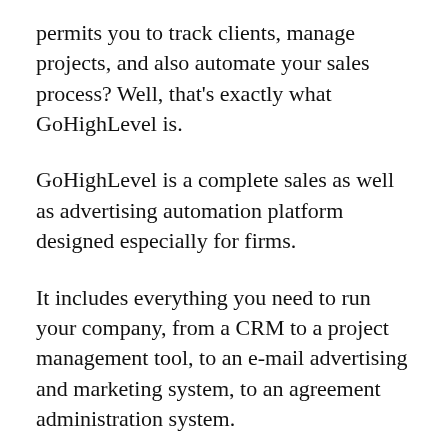permits you to track clients, manage projects, and also automate your sales process? Well, that's exactly what GoHighLevel is.
GoHighLevel is a complete sales as well as advertising automation platform designed especially for firms.
It includes everything you need to run your company, from a CRM to a project management tool, to an e-mail advertising and marketing system, to an agreement administration system.
Plus, it comes with a built-in blogging system and social media management tool, so you can conveniently develop and also